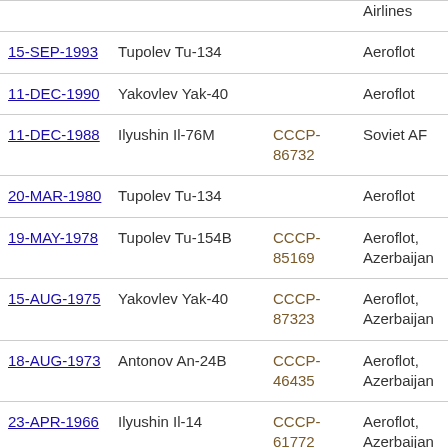| Date | Aircraft | Registration | Operator |
| --- | --- | --- | --- |
| (Airlines) |  |  | Airlines |
| 15-SEP-1993 | Tupolev Tu-134 |  | Aeroflot |
| 11-DEC-1990 | Yakovlev Yak-40 |  | Aeroflot |
| 11-DEC-1988 | Ilyushin Il-76M | CCCP-86732 | Soviet AF |
| 20-MAR-1980 | Tupolev Tu-134 |  | Aeroflot |
| 19-MAY-1978 | Tupolev Tu-154B | CCCP-85169 | Aeroflot, Azerbaijan |
| 15-AUG-1975 | Yakovlev Yak-40 | CCCP-87323 | Aeroflot, Azerbaijan |
| 18-AUG-1973 | Antonov An-24B | CCCP-46435 | Aeroflot, Azerbaijan |
| 23-APR-1966 | Ilyushin Il-14 | CCCP-61772 | Aeroflot, Azerbaijan |